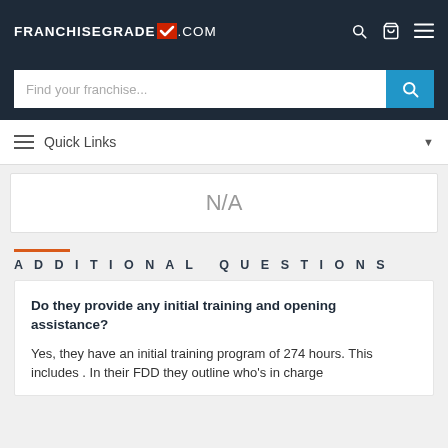FRANCHISEGRADE.COM
Find your franchise...
Quick Links
N/A
ADDITIONAL QUESTIONS
Do they provide any initial training and opening assistance?
Yes, they have an initial training program of 274 hours. This includes . In their FDD they outline who's in charge